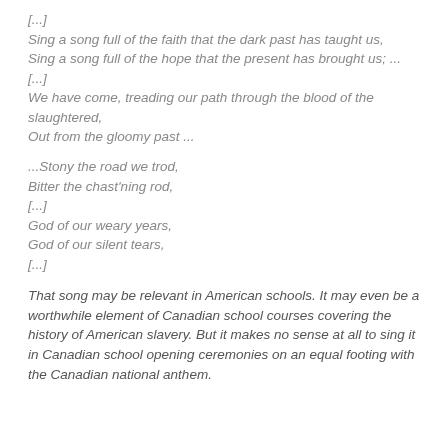[...]
Sing a song full of the faith that the dark past has taught us,
Sing a song full of the hope that the present has brought us; ...
[...]
We have come, treading our path through the blood of the slaughtered,
Out from the gloomy past ...

...Stony the road we trod,
Bitter the chast'ning rod,
[...]
God of our weary years,
God of our silent tears,
[...]
That song may be relevant in American schools. It may even be a worthwhile element of Canadian school courses covering the history of American slavery. But it makes no sense at all to sing it in Canadian school opening ceremonies on an equal footing with the Canadian national anthem.